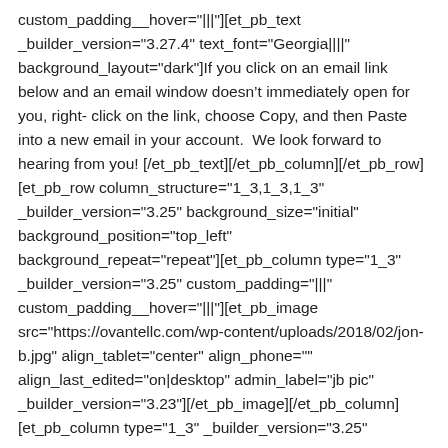custom_padding__hover="|||"[et_pb_text _builder_version="3.27.4" text_font="Georgia||||" background_layout="dark"]If you click on an email link below and an email window doesn't immediately open for you, right-click on the link, choose Copy, and then Paste into a new email in your account.  We look forward to hearing from you![/et_pb_text][/et_pb_column][/et_pb_row][et_pb_row column_structure="1_3,1_3,1_3" _builder_version="3.25" background_size="initial" background_position="top_left" background_repeat="repeat"][et_pb_column type="1_3" _builder_version="3.25" custom_padding="|||" custom_padding__hover="|||"][et_pb_image src="https://ovantellc.com/wp-content/uploads/2018/02/jon-b.jpg" align_tablet="center" align_phone="" align_last_edited="on|desktop" admin_label="jb pic" _builder_version="3.23"][/et_pb_image][/et_pb_column][et_pb_column type="1_3" _builder_version="3.25"